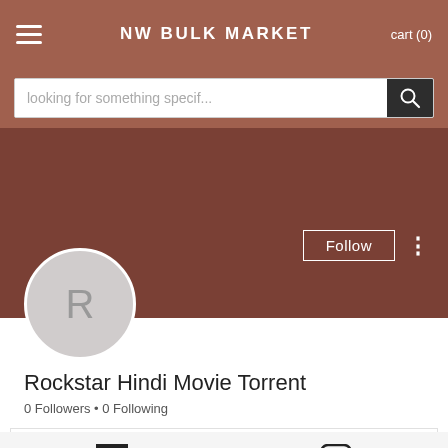NW BULK MARKET  cart (0)
[Figure (screenshot): Mobile website header with hamburger menu, site title 'NW BULK MARKET', and cart indicator]
looking for something specif...
[Figure (photo): Brown/mauve banner cover area for user profile]
Follow
[Figure (illustration): Gray circle avatar with letter R]
Rockstar Hindi Movie Torrent
0 Followers • 0 Following
[Figure (screenshot): Expandable section box with chevron]
[Figure (screenshot): Social media icons row with Facebook and Instagram icons]